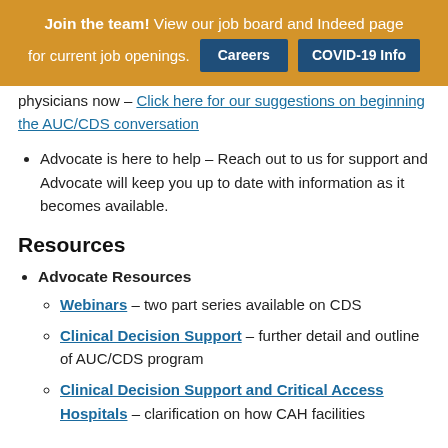Join the team! View our job board and Indeed page for current job openings. [Careers] [COVID-19 Info]
physicians now – Click here for our suggestions on beginning the AUC/CDS conversation
Advocate is here to help – Reach out to us for support and Advocate will keep you up to date with information as it becomes available.
Resources
Advocate Resources
Webinars – two part series available on CDS
Clinical Decision Support – further detail and outline of AUC/CDS program
Clinical Decision Support and Critical Access Hospitals – clarification on how CAH facilities